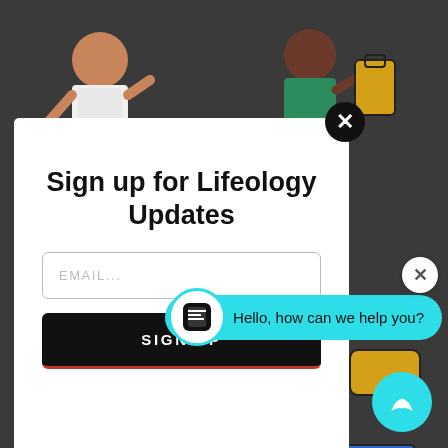[Figure (illustration): Dark background with illustrated cartoon characters and items (people, electronics, food) visible around a modal popup overlay]
Sign up for Lifeology Updates
EMAIL...
SIGN UP
Hello, how can we help you?